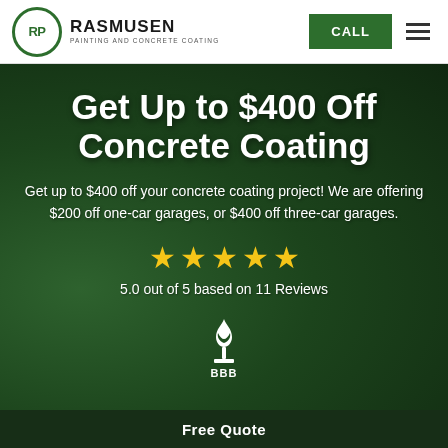RASMUSEN PAINTING AND CONCRETE COATING — CALL
Get Up to $400 Off Concrete Coating
Get up to $400 off your concrete coating project! We are offering $200 off one-car garages, or $400 off three-car garages.
5.0 out of 5 based on 11 Reviews
[Figure (logo): BBB Better Business Bureau logo in white]
Free Quote